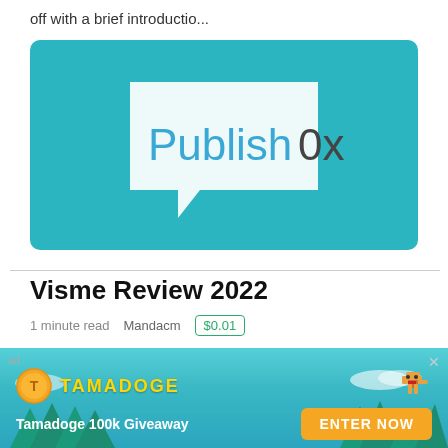off with a brief introductio...
[Figure (logo): Publish0x logo — white speech bubble with 'Publish0x' text on teal/cyan background]
Visme Review 2022
1 minute read   Mandacm   $0.01
Hello everyone!   Today I wanted to take some time to
[Figure (infographic): Tamadoge advertisement banner with coin logo, pixel-art dog, trees background, and 'ENTER NOW' button. Text: Tamadoge 100k Giveaway]